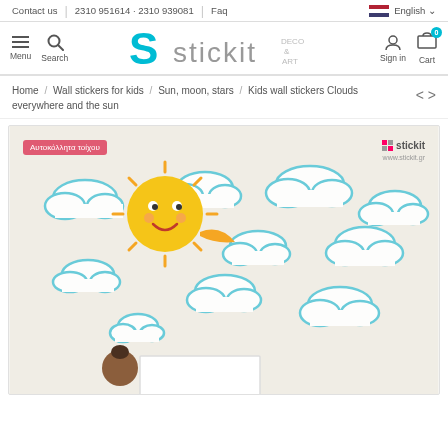Contact us | 2310 951614 · 2310 939081 | Faq | English
[Figure (screenshot): Stickit Deco & Art navigation bar with menu, search, logo, sign in and cart icons]
Home / Wall stickers for kids / Sun, moon, stars / Kids wall stickers Clouds everywhere and the sun
[Figure (photo): Product photo: Kids wall stickers showing cartoon sun and blue outline clouds on a light beige wall, with two children visible at the bottom. Greek label 'Αυτοκόλλητα τοίχου' (Wall stickers) in top left, Stickit logo watermark top right.]